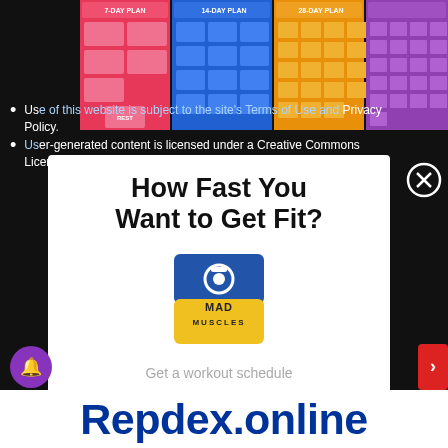[Figure (screenshot): Fitness workout plan schedule showing 7-Day Plan (pink/red), 14-Day Plan (blue), 28-Day Plan (orange/yellow), and a purple plan, with day-by-day grids]
Use of this website is subject to the site's Terms of Use and Privacy Policy.
User-generated content is licensed under a Creative Commons License.
How Fast You Want to Get Fit?
[Figure (logo): MAD Muscles app logo - blue and yellow square with camera icon and 'MAD MUSCLES' text]
Get a workout schedule
Repdex.online